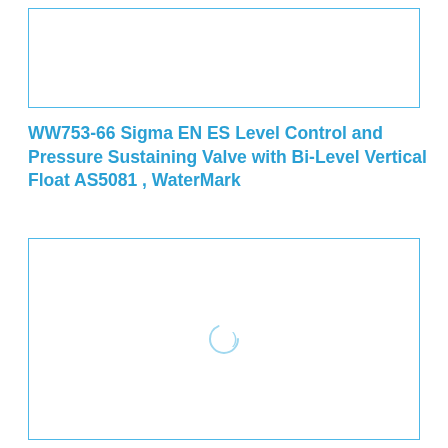[Figure (other): Empty bordered rectangle at top of page, placeholder image area with light blue border]
WW753-66 Sigma EN ES Level Control and Pressure Sustaining Valve with Bi-Level Vertical Float AS5081 , WaterMark
[Figure (other): Large bordered rectangle in lower portion of page with a loading spinner circle icon in the center, light blue border]